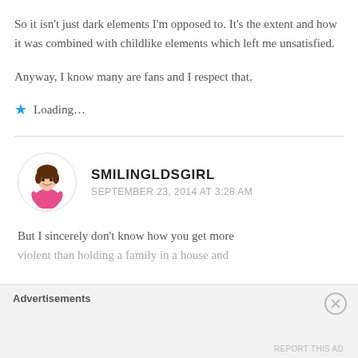So it isn't just dark elements I'm opposed to. It's the extent and how it was combined with childlike elements which left me unsatisfied.
Anyway, I know many are fans and I respect that.
★ Loading…
SMILINGLDSGIRL
SEPTEMBER 23, 2014 AT 3:28 AM
But I sincerely don't know how you get more violent than holding a family in a house and
Advertisements